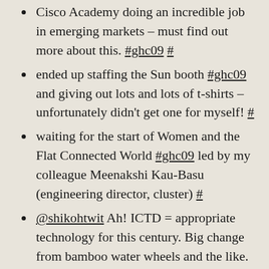Cisco Academy doing an incredible job in emerging markets – must find out more about this. #ghc09 #
ended up staffing the Sun booth #ghc09 and giving out lots and lots of t-shirts – unfortunately didn't get one for myself! #
waiting for the start of Women and the Flat Connected World #ghc09 led by my colleague Meenakshi Kau-Basu (engineering director, cluster) #
@shikohtwit Ah! ICTD = appropriate technology for this century. Big change from bamboo water wheels and the like. #ghc09 in reply to shikohtwit #